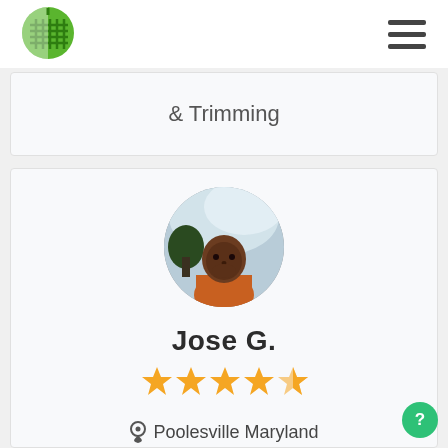[Figure (logo): Green circular lawn/landscaping service logo with grid/rake design]
& Trimming
[Figure (photo): Circular profile photo of Jose G., a man in an orange shirt outdoors with trees and sky visible]
Jose G.
[Figure (other): 5 gold/yellow star rating icons]
Poolesville Maryland